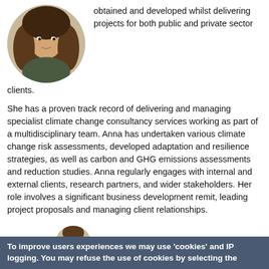[Figure (photo): Circular profile photo of a woman with long brown hair]
obtained and developed whilst delivering projects for both public and private sector clients.
She has a proven track record of delivering and managing specialist climate change consultancy services working as part of a multidisciplinary team. Anna has undertaken various climate change risk assessments, developed adaptation and resilience strategies, as well as carbon and GHG emissions assessments and reduction studies. Anna regularly engages with internal and external clients, research partners, and wider stakeholders. Her role involves a significant business development remit, leading project proposals and managing client relationships.
[Figure (photo): Circular profile photo partially visible at bottom]
Charles Van Tuyckom is
To improve users experiences we may use 'cookies' and IP logging. You may refuse the use of cookies by selecting the